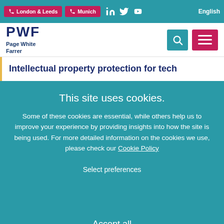London & Leeds | Munich | English
[Figure (logo): PWF Page White Farrer logo with teal search icon and red hamburger menu icon]
Intellectual property protection for tech
This site uses cookies.
Some of these cookies are essential, while others help us to improve your experience by providing insights into how the site is being used. For more detailed information on the cookies we use, please check our Cookie Policy
Select preferences
Accept all